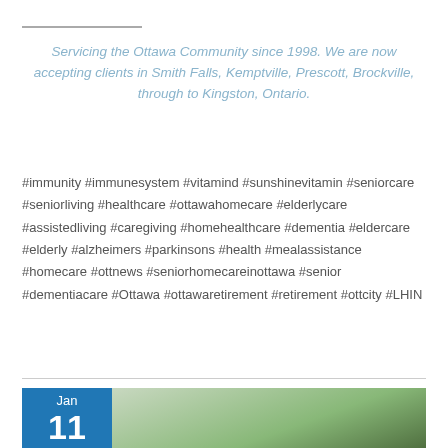Servicing the Ottawa Community since 1998. We are now accepting clients in Smith Falls, Kemptville, Prescott, Brockville, through to Kingston, Ontario.
#immunity #immunesystem #vitamind #sunshinevitamin #seniorcare #seniorliving #healthcare #ottawahomecare #elderlycare #assistedliving #caregiving #homehealthcare #dementia #eldercare #elderly #alzheimers #parkinsons #health #mealassistance #homecare #ottnews #seniorhomecareinottawa #senior #dementiacare #Ottawa #ottawaretirement #retirement #ottcity #LHIN
[Figure (photo): Blue date tile showing 'Jan 11' next to a photo of green herbs/plants]